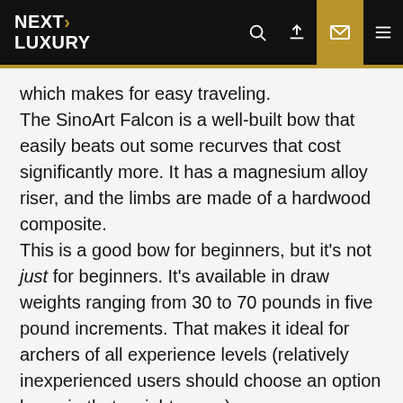NEXT LUXURY
which makes for easy traveling.
The SinoArt Falcon is a well-built bow that easily beats out some recurves that cost significantly more. It has a magnesium alloy riser, and the limbs are made of a hardwood composite.
This is a good bow for beginners, but it's not just for beginners. It's available in draw weights ranging from 30 to 70 pounds in five pound increments. That makes it ideal for archers of all experience levels (relatively inexperienced users should choose an option lower in that weight range).